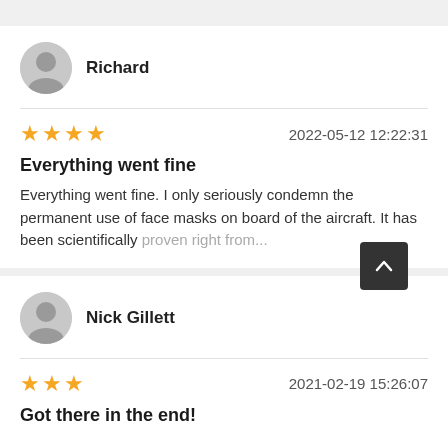Richard
★★★★ 2022-05-12 12:22:31
Everything went fine
Everything went fine. I only seriously condemn the permanent use of face masks on board of the aircraft. It has been scientifically proven right from...
Nick Gillett
★★★ 2021-02-19 15:26:07
Got there in the end!